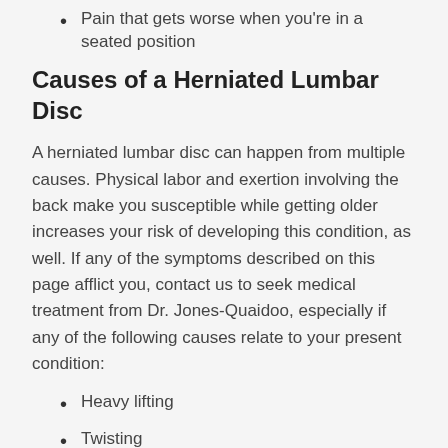Pain that gets worse when you’re in a seated position
Causes of a Herniated Lumbar Disc
A herniated lumbar disc can happen from multiple causes. Physical labor and exertion involving the back make you susceptible while getting older increases your risk of developing this condition, as well. If any of the symptoms described on this page afflict you, contact us to seek medical treatment from Dr. Jones-Quaidoo, especially if any of the following causes relate to your present condition:
Heavy lifting
Twisting
Trauma or injury
Degeneration resulting from the normal aging process